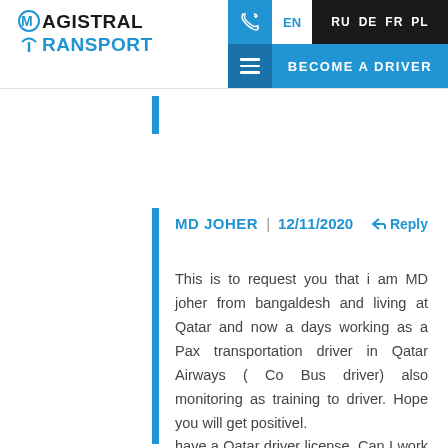[Figure (logo): Magistral Transport logo with blue M and T icons]
EN RU DE FR PL | BECOME A DRIVER
MD JOHER | 12/11/2020 ↩ Reply

This is to request you that i am MD joher from bangaldesh and living at Qatar and now a days working as a Pax transportation driver in Qatar Airways ( Co Bus driver) also monitoring as training to driver. Hope you will get positivel.
have a Qatar driver license. Can I work in your company as a truck